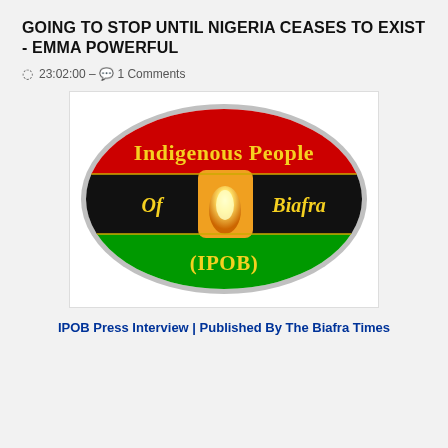GOING TO STOP UNTIL NIGERIA CEASES TO EXIST - EMMA POWERFUL
23:02:00 - 1 Comments
[Figure (logo): IPOB (Indigenous People of Biafra) logo: an oval badge with red, black, and green horizontal stripes, featuring gold text 'Indigenous People Of Biafra (IPOB)' and a central flame/torch icon in an orange square]
IPOB Press Interview | Published By The Biafra Times